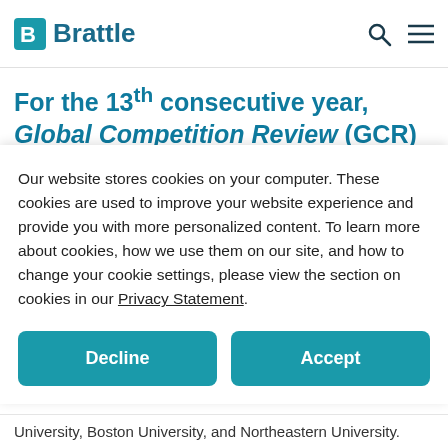Brattle
For the 13th consecutive year, Global Competition Review (GCR) has recognized The Brattle Group in the “Economics 21” list of the
Our website stores cookies on your computer. These cookies are used to improve your website experience and provide you with more personalized content. To learn more about cookies, how we use them on our site, and how to change your cookie settings, please view the section on cookies in our Privacy Statement.
University, Boston University, and Northeastern University.